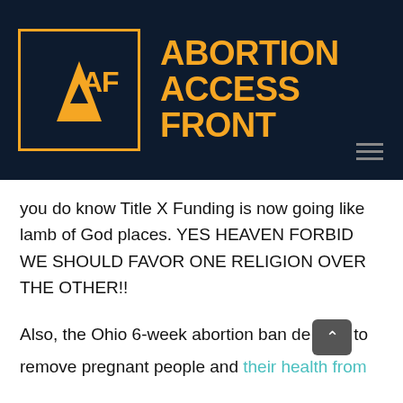[Figure (logo): Abortion Access Front logo: dark navy background with orange outlined square containing stylized 'A' and 'AF' letters, followed by bold orange text 'ABORTION ACCESS FRONT']
you do know Title X Funding is now going like lamb of God places. YES HEAVEN FORBID WE SHOULD FAVOR ONE RELIGION OVER THE OTHER!!
Also, the Ohio 6-week abortion ban decided to remove pregnant people and their health from